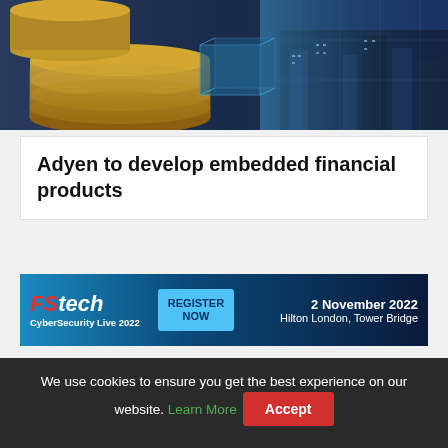[Figure (photo): Hero image showing stacked coins and a city skyline with digital overlay effects suggesting fintech/finance theme]
Adyen to develop embedded financial products
[Figure (infographic): FStech CyberSecurity Live 2022 advertisement banner. Text: FS tech CyberSecurity Live 2022 | REGISTER NOW | 2 November 2022 Hilton London, Tower Bridge]
MEET EVELYN, YOUR ECONOMIC SANCTIONS/PEP/ADVERSE MEDIA ALERT ADJUDICATION ANALYST
We use cookies to ensure you get the best experience on our website. Learn More Accept